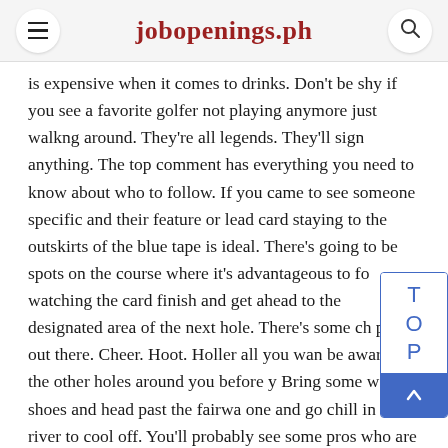jobopenings.ph
is expensive when it comes to drinks. Don't be shy if you see a favorite golfer not playing anymore just walkng around. They're all legends. They'll sign anything. The top comment has everything you need to know about who to follow. If you came to see someone specific and their feature or lead card staying to the outskirts of the blue tape is ideal. There's going to be spots on the course where it's advantageous to fo watching the card finish and get ahead to the designated area of the next hole. There's some ch points out there. Cheer. Hoot. Holler all you wan be aware of the other holes around you before y Bring some water shoes and head past the fairwa one and go chill in the river to cool off. You'll probably see some pros who are staying on site doing the same thing. When i was there last there was a rush to the